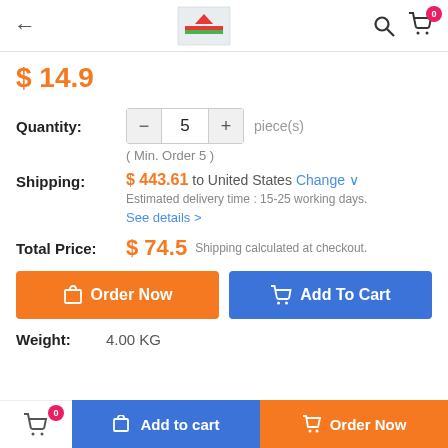← [logo] 🔍 🛒 0
$ 14.9
Quantity: 5 piece(s) ( Min. Order 5 )
Shipping: $ 443.61 to United States Change  Estimated delivery time : 15-25 working days. See details >
Total Price: $ 74.5 Shipping calculated at checkout.
Order Now   Add To Cart
Weight: 4.00 KG
🛒 0   Add to cart   Order Now